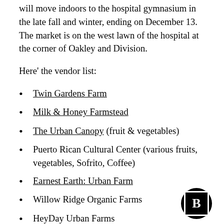will move indoors to the hospital gymnasium in the late fall and winter, ending on December 13. The market is on the west lawn of the hospital at the corner of Oakley and Division.
Here' the vendor list:
Twin Gardens Farm
Milk & Honey Farmstead
The Urban Canopy (fruit & vegetables)
Puerto Rican Cultural Center (various fruits, vegetables, Sofrito, Coffee)
Earnest Earth: Urban Farm
Willow Ridge Organic Farms
HeyDay Urban Farms